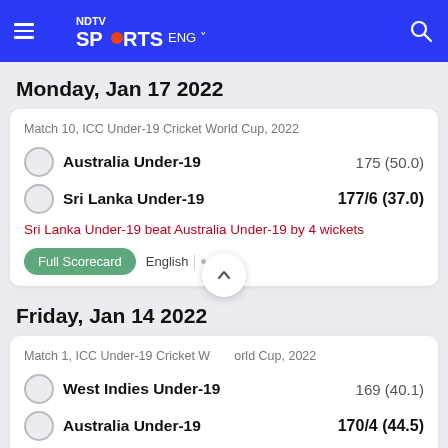NDTV SPORTS ENG
Monday, Jan 17 2022
Match 10, ICC Under-19 Cricket World Cup, 2022
Australia Under-19    175 (50.0)
Sri Lanka Under-19    177/6 (37.0)
Sri Lanka Under-19 beat Australia Under-19 by 4 wickets
Full Scorecard  English
Friday, Jan 14 2022
Match 1, ICC Under-19 Cricket World Cup, 2022
West Indies Under-19    169 (40.1)
Australia Under-19    170/4 (44.5)